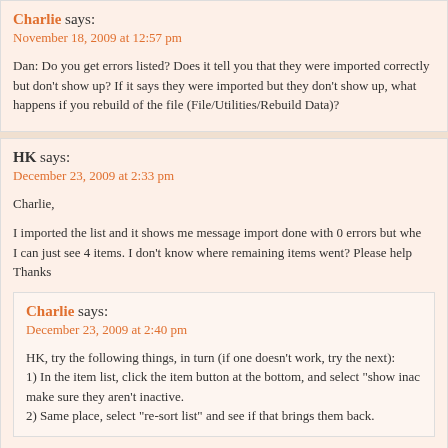Charlie says:
November 18, 2009 at 12:57 pm
Dan: Do you get errors listed? Does it tell you that they were imported correctly but don't show up? If it says they were imported but they don't show up, what happens if you rebuild of the file (File/Utilities/Rebuild Data)?
HK says:
December 23, 2009 at 2:33 pm
Charlie,
I imported the list and it shows me message import done with 0 errors but whe I can just see 4 items. I don't know where remaining items went? Please help Thanks
Charlie says:
December 23, 2009 at 2:40 pm
HK, try the following things, in turn (if one doesn't work, try the next): 1) In the item list, click the item button at the bottom, and select "show inac make sure they aren't inactive. 2) Same place, select "re-sort list" and see if that brings them back.